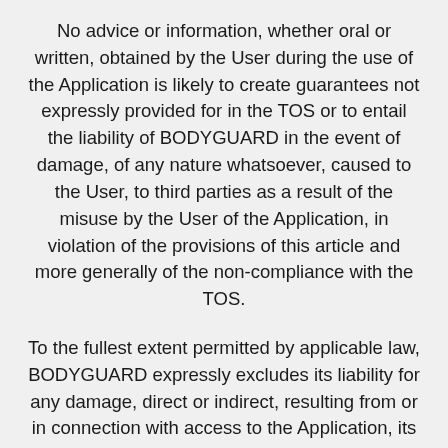No advice or information, whether oral or written, obtained by the User during the use of the Application is likely to create guarantees not expressly provided for in the TOS or to entail the liability of BODYGUARD in the event of damage, of any nature whatsoever, caused to the User, to third parties as a result of the misuse by the User of the Application, in violation of the provisions of this article and more generally of the non-compliance with the TOS.
To the fullest extent permitted by applicable law, BODYGUARD expressly excludes its liability for any damage, direct or indirect, resulting from or in connection with access to the Application, its use, its malfunction or unavailability whatever its nature and duration.